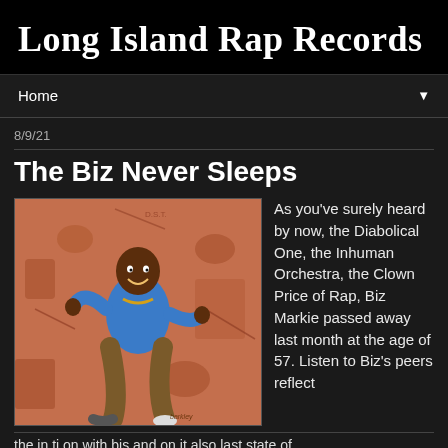Long Island Rap Records
Home
8/9/21
The Biz Never Sleeps
[Figure (illustration): Illustrated artwork of Biz Markie running/dancing in a blue shirt and khaki pants against a reddish-brown illustrated background with various cartoon figures]
As you've surely heard by now, the Diabolical One, the Inhuman Orchestra, the Clown Price of Rap, Biz Markie passed away last month at the age of 57. Listen to Biz's peers reflect
the in ti on with bis and on it also last state of